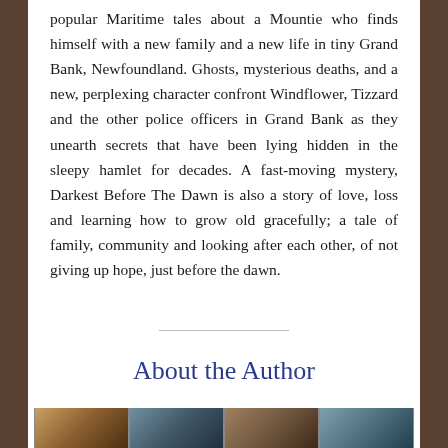popular Maritime tales about a Mountie who finds himself with a new family and a new life in tiny Grand Bank, Newfoundland. Ghosts, mysterious deaths, and a new, perplexing character confront Windflower, Tizzard and the other police officers in Grand Bank as they unearth secrets that have been lying hidden in the sleepy hamlet for decades. A fast-moving mystery, Darkest Before The Dawn is also a story of love, loss and learning how to grow old gracefully; a tale of family, community and looking after each other, of not giving up hope, just before the dawn.
About the Author
[Figure (photo): Strip of photos showing the author or related imagery]